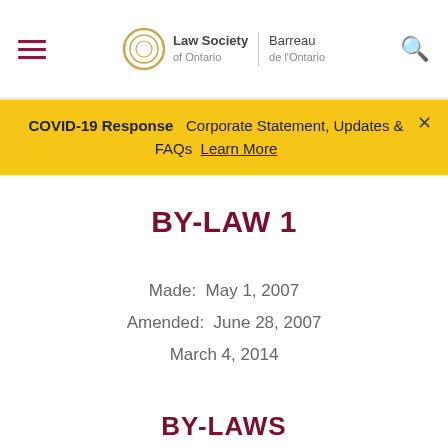Law Society of Ontario | Barreau de l'Ontario
COVID-19 Response  Corporate Statement, Updates & FAQs  Learn More
BY-LAW 1
Made:  May 1, 2007
Amended:  June 28, 2007
March 4, 2014
BY-LAWS